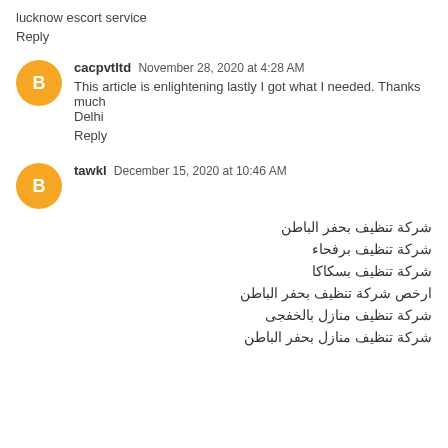lucknow escort service
Reply
cacpvtltd  November 28, 2020 at 4:28 AM
This article is enlightening lastly I got what I needed. Thanks much Delhi
Reply
tawkl  December 15, 2020 at 10:46 AM
شركة تنظيف بحفر الباطن
شركة تنظيف برفحاء
شركة تنظيف بسكاكا
ارخص شركة تنظيف بحفر الباطن
شركة تنظيف منازل بالخفجى
شركة تنظيف منازل بحفر الباطن